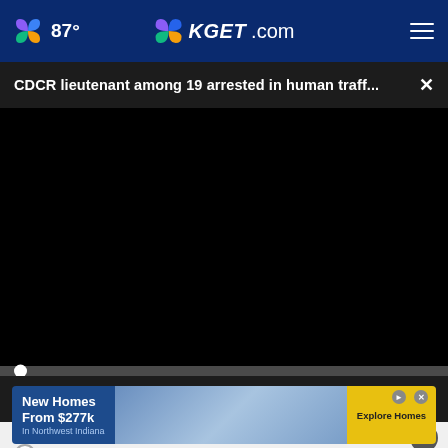87° KGET.com
CDCR lieutenant among 19 arrested in human traff...
[Figure (screenshot): Black video player area with progress bar and controls showing 00:00 timestamp, play button, mute button, captions button, and fullscreen button]
To what extent do you support or oppose age limits for elected officials?
[Figure (screenshot): Advertisement banner: New Homes From $277k In Northwest Indiana with Explore Homes button]
Somewhat support